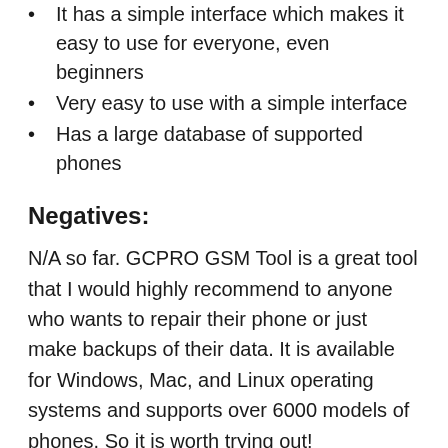It has a simple interface which makes it easy to use for everyone, even beginners
Very easy to use with a simple interface
Has a large database of supported phones
Negatives:
N/A so far. GCPRO GSM Tool is a great tool that I would highly recommend to anyone who wants to repair their phone or just make backups of their data. It is available for Windows, Mac, and Linux operating systems and supports over 6000 models of phones. So it is worth trying out!
GCPRO Dongle support :
All GSM tool-supported models are also available to use with GCPRO Dongle. You can